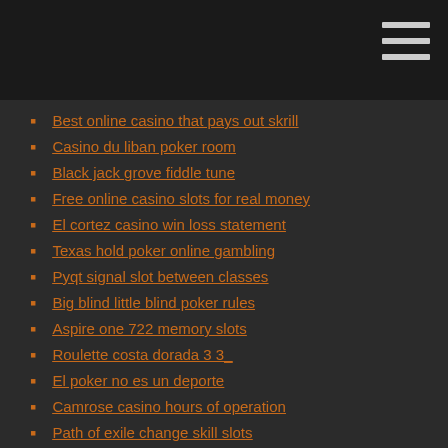Best online casino that pays out skrill
Casino du liban poker room
Black jack grove fiddle tune
Free online casino slots for real money
El cortez casino win loss statement
Texas hold poker online gambling
Pyqt signal slot between classes
Big blind little blind poker rules
Aspire one 722 memory slots
Roulette costa dorada 3 3_
El poker no es un deporte
Camrose casino hours of operation
Path of exile change skill slots
Desert storm poker run 2019